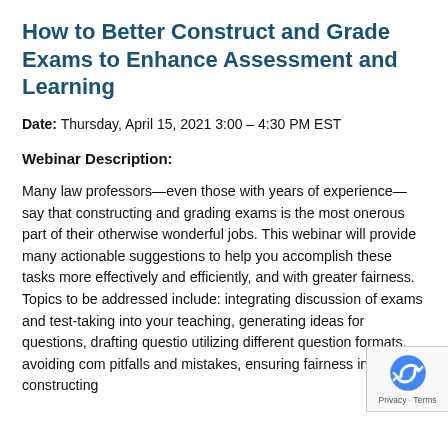How to Better Construct and Grade Exams to Enhance Assessment and Learning
Date: Thursday, April 15, 2021 3:00 – 4:30 PM EST
Webinar Description:
Many law professors—even those with years of experience—say that constructing and grading exams is the most onerous part of their otherwise wonderful jobs. This webinar will provide many actionable suggestions to help you accomplish these tasks more effectively and efficiently, and with greater fairness. Topics to be addressed include: integrating discussion of exams and test-taking into your teaching, generating ideas for questions, drafting questions, utilizing different question formats, avoiding common pitfalls and mistakes, ensuring fairness in constructing…